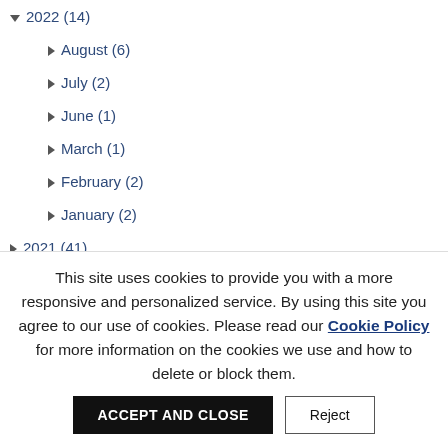▼ 2022 (14)
► August (6)
► July (2)
► June (1)
► March (1)
► February (2)
► January (2)
► 2021 (41)
► 2020 (62)
► 2019 (79)
This site uses cookies to provide you with a more responsive and personalized service. By using this site you agree to our use of cookies. Please read our Cookie Policy for more information on the cookies we use and how to delete or block them.
ACCEPT AND CLOSE | Reject